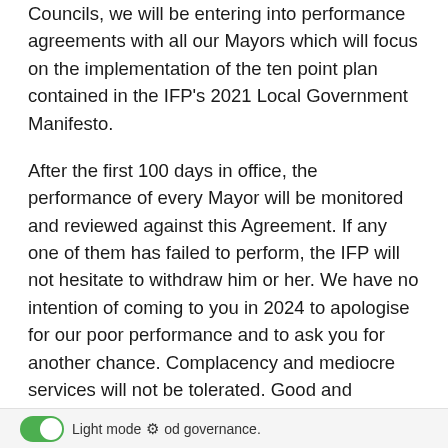Councils, we will be entering into performance agreements with all our Mayors which will focus on the implementation of the ten point plan contained in the IFP's 2021 Local Government Manifesto.
After the first 100 days in office, the performance of every Mayor will be monitored and reviewed against this Agreement. If any one of them has failed to perform, the IFP will not hesitate to withdraw him or her. We have no intention of coming to you in 2024 to apologise for our poor performance and to ask you for another chance. Complacency and mediocre services will not be tolerated. Good and competent governance is what people need. We will give the electorate every reason to believe in the IFP's solid record of good governance.